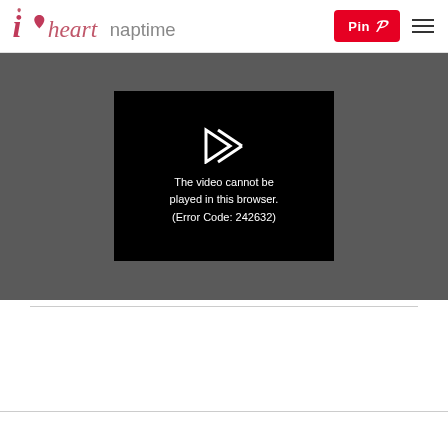i heart naptime — Pin | menu
[Figure (screenshot): Video player showing error message: 'The video cannot be played in this browser. (Error Code: 242632)' with a play/forward icon on a black background, set against a dark grey video container area.]